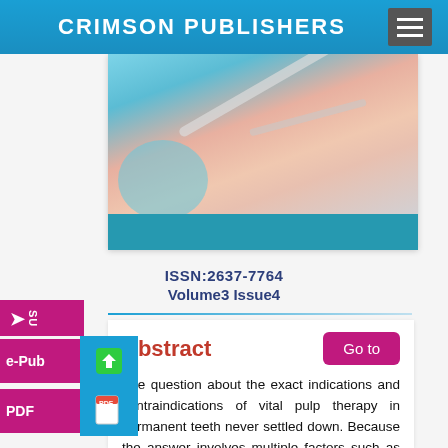CRIMSON PUBLISHERS
[Figure (photo): Close-up dental photo showing teeth, lips, and dental instruments including a mirror and scaler being used in a dental examination. Teal/blue accent band at the bottom of the image.]
ISSN:2637-7764
Volume3 Issue4
Abstract
The question about the exact indications and contraindications of vital pulp therapy in permanent teeth never settled down. Because the answer involves multiple factors such as understanding the complex